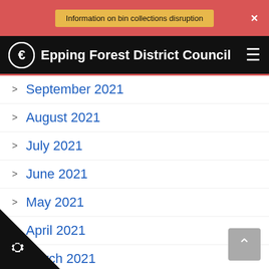Information on bin collections disruption
Epping Forest District Council
September 2021
August 2021
July 2021
June 2021
May 2021
April 2021
March 2021
February 2021
January 2021
December 2020